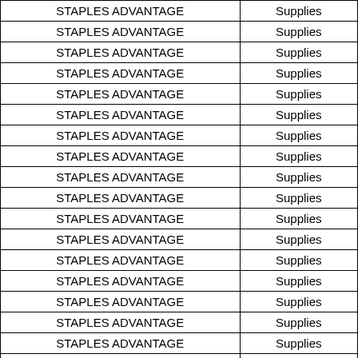| STAPLES ADVANTAGE | Supplies |
| STAPLES ADVANTAGE | Supplies |
| STAPLES ADVANTAGE | Supplies |
| STAPLES ADVANTAGE | Supplies |
| STAPLES ADVANTAGE | Supplies |
| STAPLES ADVANTAGE | Supplies |
| STAPLES ADVANTAGE | Supplies |
| STAPLES ADVANTAGE | Supplies |
| STAPLES ADVANTAGE | Supplies |
| STAPLES ADVANTAGE | Supplies |
| STAPLES ADVANTAGE | Supplies |
| STAPLES ADVANTAGE | Supplies |
| STAPLES ADVANTAGE | Supplies |
| STAPLES ADVANTAGE | Supplies |
| STAPLES ADVANTAGE | Supplies |
| STAPLES ADVANTAGE | Supplies |
| STAPLES ADVANTAGE | Supplies |
| STAPLES ADVANTAGE | Supplies |
| STAPLES ADVANTAGE | Supplies |
| STAPLES ADVANTAGE | Supplies |
| STAPLES ADVANTAGE | Supplies |
| STAPLES ADVANTAGE | Supplies |
| STAPLES ADVANTAGE | Supplies |
| STAPLES ADVANTAGE | Supplies |